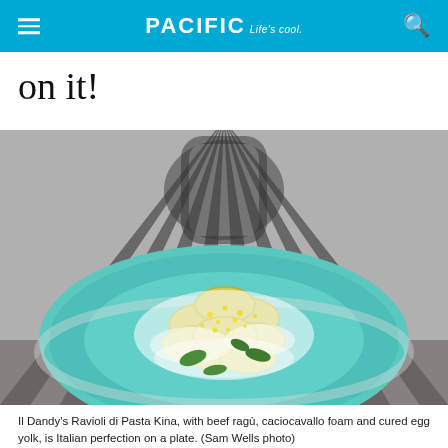PACIFIC Life's cool.
on it!
[Figure (photo): A plate of Il Dandy's Ravioli di Pasta Kina on a turquoise ceramic dish, topped with white caciocavallo foam, yellow cured egg yolk, and fresh basil leaves. The background is black and white with a decorative fan/stripe pattern and a dark wicker chair back.]
Il Dandy's Ravioli di Pasta Kina, with beef ragù, caciocavallo foam and cured egg yolk, is Italian perfection on a plate. (Sam Wells photo)